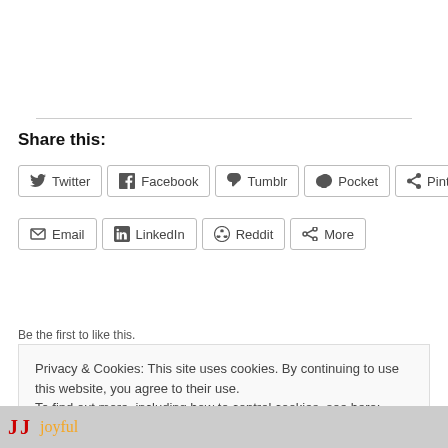Share this:
Twitter
Facebook
Tumblr
Pocket
Pinterest
Email
LinkedIn
Reddit
More
Be the first to like this.
Privacy & Cookies: This site uses cookies. By continuing to use this website, you agree to their use. To find out more, including how to control cookies, see here: Cookie Policy
Close and accept
[Figure (photo): Partial image of red and black text/graphics at bottom of page with the word 'joyful' in orange]